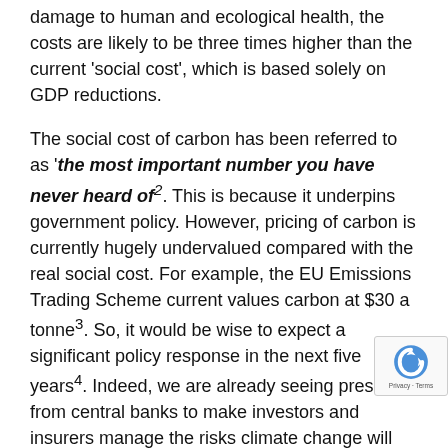damage to human and ecological health, the costs are likely to be three times higher than the current 'social cost', which is based solely on GDP reductions.
The social cost of carbon has been referred to as 'the most important number you have never heard of²'. This is because it underpins government policy. However, pricing of carbon is currently hugely undervalued compared with the real social cost. For example, the EU Emissions Trading Scheme current values carbon at $30 a tonne³. So, it would be wise to expect a significant policy response in the next five years⁴. Indeed, we are already seeing pressure from central banks to make investors and insurers manage the risks climate change will bring, leading to ever more demanding questions of business⁵. The reasons to act now are growing all the time.
This is why BITC is launching a new campaign, as p our initiative to create a blueprint for responsible bu that will enable us all to build back better a better 'normal'